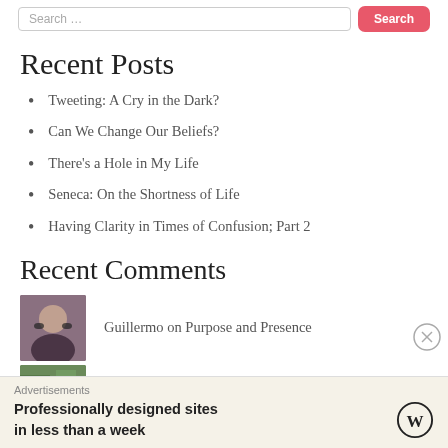[Figure (screenshot): Search bar with text input and pink Search button]
Recent Posts
Tweeting: A Cry in the Dark?
Can We Change Our Beliefs?
There’s a Hole in My Life
Seneca: On the Shortness of Life
Having Clarity in Times of Confusion; Part 2
Recent Comments
Guillermo on Purpose and Presence
[Figure (screenshot): Partial second avatar image (nature/green)]
Advertisements
Professionally designed sites in less than a week